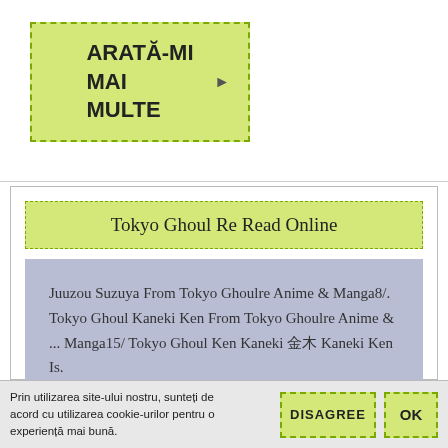[Figure (screenshot): Button labeled ARATĂ-MI MAI MULTE with dashed green border on yellow-green background, with small icon]
Tokyo Ghoul Re Read Online
Juuzou Suzuya From Tokyo Ghoulre Anime & Manga8/. Tokyo Ghoul Kaneki Ken From Tokyo Ghoulre Anime & ... Manga15/ Tokyo Ghoul Ken Kaneki 金木 Kaneki Ken Is.
[Figure (screenshot): Button labeled ARATĂ-MI MAI MULTE with dashed green border on yellow-green background, with small icon]
Prin utilizarea site-ului nostru, sunteți de acord cu utilizarea cookie-urilor pentru o experiență mai bună.
[Figure (screenshot): DISAGREE button]
[Figure (screenshot): OK button]